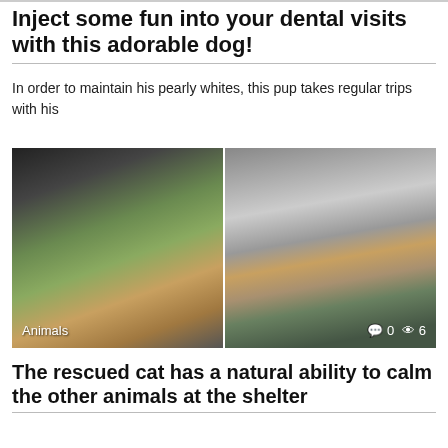Inject some fun into your dental visits with this adorable dog!
In order to maintain his pearly whites, this pup takes regular trips with his
[Figure (photo): Two side-by-side photos: left shows a dark cat leaning over a green-edged bathtub or surface; right shows a tabby cat with medical tubes/IV equipment, lying on a surface. Left image has 'Animals' label; right image shows comment icon '0' and view icon '6'.]
The rescued cat has a natural ability to calm the other animals at the shelter
Having a pet is a goal shared by many, but adopting a dog or
[Figure (photo): Partial bottom photo showing a close-up of a dog's face and ears, tan/golden colored, against a blurred background.]